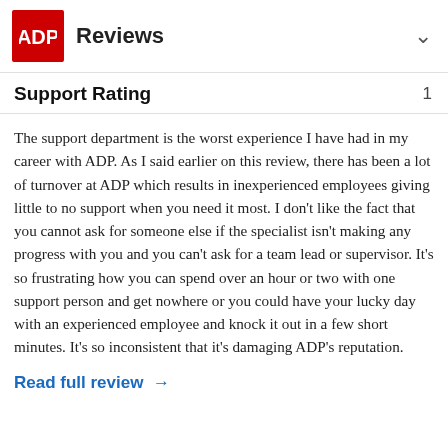ADP Reviews
Support Rating   1
The support department is the worst experience I have had in my career with ADP. As I said earlier on this review, there has been a lot of turnover at ADP which results in inexperienced employees giving little to no support when you need it most. I don't like the fact that you cannot ask for someone else if the specialist isn't making any progress with you and you can't ask for a team lead or supervisor. It's so frustrating how you can spend over an hour or two with one support person and get nowhere or you could have your lucky day with an experienced employee and knock it out in a few short minutes. It's so inconsistent that it's damaging ADP's reputation.
Read full review →